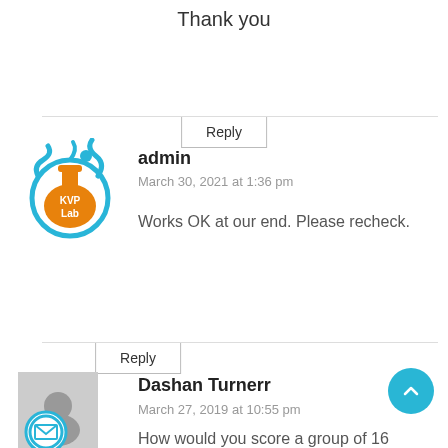Thank you
Reply
[Figure (logo): KVP Lab logo — orange flask with blue circular border and KVP Lab text]
admin
March 30, 2021 at 1:36 pm
Works OK at our end. Please recheck.
Reply
[Figure (illustration): Generic avatar — gray silhouette figure with blue envelope icon circle overlay]
Dashan Turnerr
March 27, 2019 at 10:55 pm
How would you score a group of 16